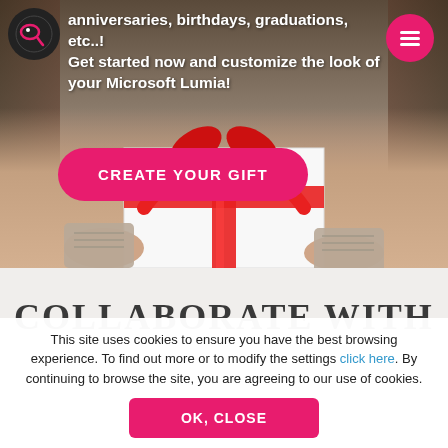[Figure (screenshot): Hero image showing hands holding a gift wrapped in white paper with a red ribbon bow, on a wooden table background. Pink 'CREATE YOUR GIFT' button. Logo circle top left, menu button top right.]
anniversaries, birthdays, graduations, etc..! Get started now and customize the look of your Microsoft Lumia!
CREATE YOUR GIFT
COLLABORATE WITH
This site uses cookies to ensure you have the best browsing experience. To find out more or to modify the settings click here. By continuing to browse the site, you are agreeing to our use of cookies.
OK, CLOSE